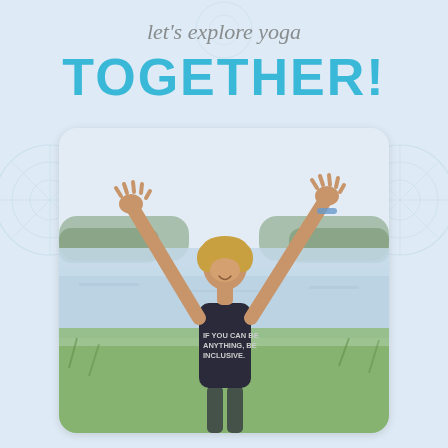let's explore yoga
TOGETHER!
[Figure (photo): A woman with arms raised wide open, smiling and looking up toward the sky, standing outdoors near a lake with trees in the background. She is wearing a dark tank top that reads 'IF YOU CAN BE ANYTHING, BE INCLUSIVE.']